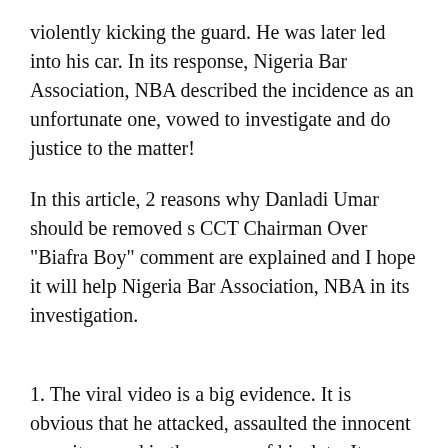violently kicking the guard. He was later led into his car. In its response, Nigeria Bar Association, NBA described the incidence as an unfortunate one, vowed to investigate and do justice to the matter!
In this article, 2 reasons why Danladi Umar should be removed s CCT Chairman Over "Biafra Boy" comment are explained and I hope it will help Nigeria Bar Association, NBA in its investigation.
1. The viral video is a big evidence. It is obvious that he attacked, assaulted the innocent security guard in the course of his duty. It doesn't matter whether Umar was provoked or not by the man. As a man in the corridors of power, he should be at all times in guard of his temper but failed in this regard. Even if the guy had actually slapped him first and Umar equally responded